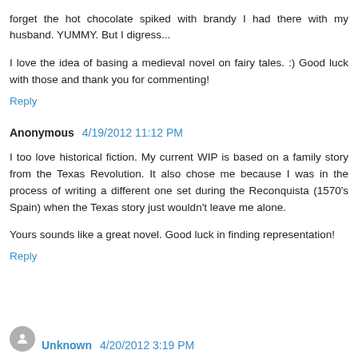forget the hot chocolate spiked with brandy I had there with my husband. YUMMY. But I digress...
I love the idea of basing a medieval novel on fairy tales. :) Good luck with those and thank you for commenting!
Reply
Anonymous 4/19/2012 11:12 PM
I too love historical fiction. My current WIP is based on a family story from the Texas Revolution. It also chose me because I was in the process of writing a different one set during the Reconquista (1570's Spain) when the Texas story just wouldn't leave me alone.
Yours sounds like a great novel. Good luck in finding representation!
Reply
Unknown 4/20/2012 3:19 PM